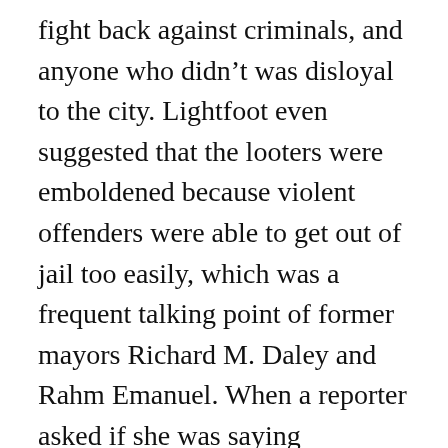fight back against criminals, and anyone who didn't was disloyal to the city. Lightfoot even suggested that the looters were emboldened because violent offenders were able to get out of jail too easily, which was a frequent talking point of former mayors Richard M. Daley and Rahm Emanuel. When a reporter asked if she was saying prosecutors and judges weren't doing their jobs, she snapped at him. “Don’t try to bait us,” she said.
Later that day Lightfoot announced the measures to restrict access to downtown for the next several evenings, including halting service from public transit trains, closing expressway ramps and limiting entry to five designated access